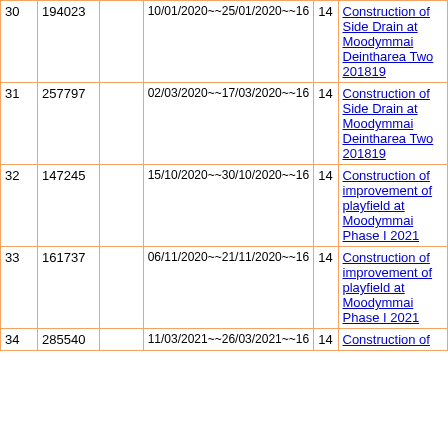| # | ID |  | Date Range~~Num | Col5 | Description |
| --- | --- | --- | --- | --- | --- |
| 30 | 194023 |  | 10/01/2020~~25/01/2020~~16 | 14 | Construction of Side Drain at Moodymmai Deintharea Two 201819 |
| 31 | 257797 |  | 02/03/2020~~17/03/2020~~16 | 14 | Construction of Side Drain at Moodymmai Deintharea Two 201819 |
| 32 | 147245 |  | 15/10/2020~~30/10/2020~~16 | 14 | Construction of improvement of playfield at Moodymmai Phase I 2021 |
| 33 | 161737 |  | 06/11/2020~~21/11/2020~~16 | 14 | Construction of improvement of playfield at Moodymmai Phase I 2021 |
| 34 | 285540 |  | 11/03/2021~~26/03/2021~~16 | 14 | Construction of ... |